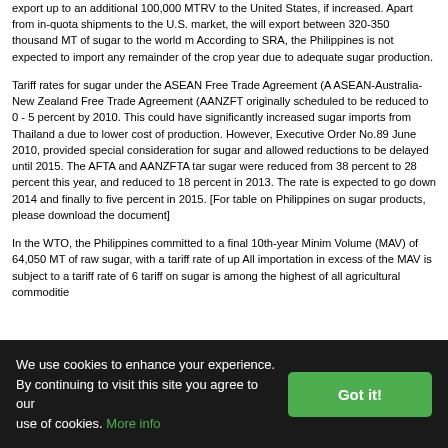export up to an additional 100,000 MTRV to the United States, if increased. Apart from in-quota shipments to the U.S. market, the will export between 320-350 thousand MT of sugar to the world m According to SRA, the Philippines is not expected to import any remainder of the crop year due to adequate sugar production.
Tariff rates for sugar under the ASEAN Free Trade Agreement (A ASEAN-Australia-New Zealand Free Trade Agreement (AANZFT originally scheduled to be reduced to 0 - 5 percent by 2010. This could have significantly increased sugar imports from Thailand a due to lower cost of production. However, Executive Order No.89 June 2010, provided special consideration for sugar and allowed reductions to be delayed until 2015. The AFTA and AANZFTA tar sugar were reduced from 38 percent to 28 percent this year, and reduced to 18 percent in 2013. The rate is expected to go down 2014 and finally to five percent in 2015. [For table on Philippines on sugar products, please download the document]
In the WTO, the Philippines committed to a final 10th-year Minim Volume (MAV) of 64,050 MT of raw sugar, with a tariff rate of up All importation in excess of the MAV is subject to a tariff rate of 6 tariff on sugar is among the highest of all agricultural commoditie
We use cookies to enhance your experience. By continuing to visit this site you agree to our use of cookies. More info